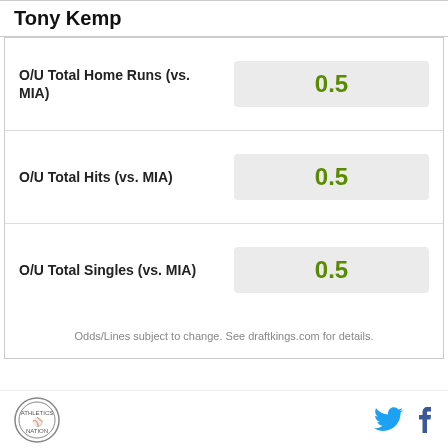Tony Kemp
| Prop | Line |
| --- | --- |
| O/U Total Home Runs (vs. MIA) | 0.5 |
| O/U Total Hits (vs. MIA) | 0.5 |
| O/U Total Singles (vs. MIA) | 0.5 |
Odds/Lines subject to change. See draftkings.com for details.